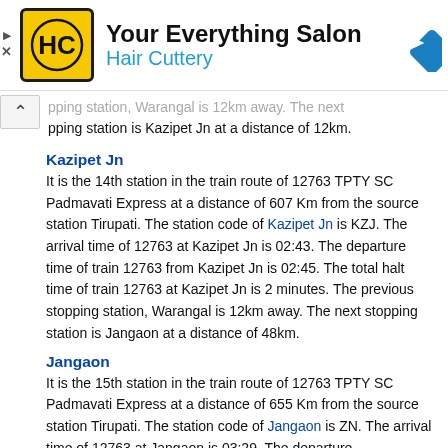[Figure (advertisement): Hair Cuttery ad banner with logo (HC in yellow square), 'Your Everything Salon' title, 'Hair Cuttery' subtitle in blue, and a blue navigation diamond icon on the right. Small arrow/close controls on the left.]
pping station, Warangal is 12km away. The next stopping station is Kazipet Jn at a distance of 12km.
Kazipet Jn
It is the 14th station in the train route of 12763 TPTY SC Padmavati Express at a distance of 607 Km from the source station Tirupati. The station code of Kazipet Jn is KZJ. The arrival time of 12763 at Kazipet Jn is 02:43. The departure time of train 12763 from Kazipet Jn is 02:45. The total halt time of train 12763 at Kazipet Jn is 2 minutes. The previous stopping station, Warangal is 12km away. The next stopping station is Jangaon at a distance of 48km.
Jangaon
It is the 15th station in the train route of 12763 TPTY SC Padmavati Express at a distance of 655 Km from the source station Tirupati. The station code of Jangaon is ZN. The arrival time of 12763 at Jangaon is 03:29. The departure